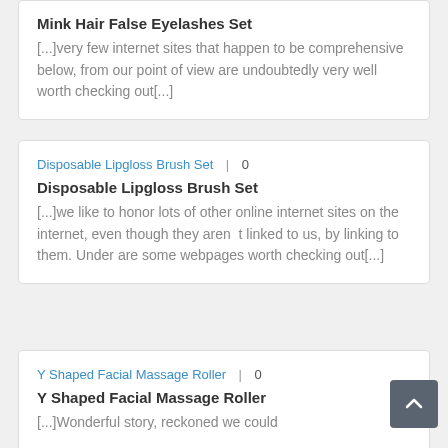Mink Hair False Eyelashes Set
[...]very few internet sites that happen to be comprehensive below, from our point of view are undoubtedly very well worth checking out[...]
Disposable Lipgloss Brush Set | 0
Disposable Lipgloss Brush Set
[...]we like to honor lots of other online internet sites on the internet, even though they aren’t linked to us, by linking to them. Under are some webpages worth checking out[...]
Y Shaped Facial Massage Roller | 0
Y Shaped Facial Massage Roller
[...]Wonderful story, reckoned we could